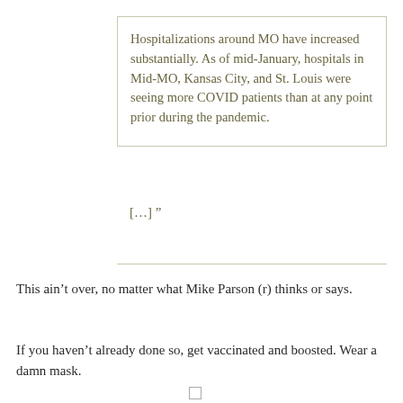Hospitalizations around MO have increased substantially. As of mid-January, hospitals in Mid-MO, Kansas City, and St. Louis were seeing more COVID patients than at any point prior during the pandemic.
[…] ”
This ain’t over, no matter what Mike Parson (r) thinks or says.
If you haven’t already done so, get vaccinated and boosted. Wear a damn mask.
Previously: